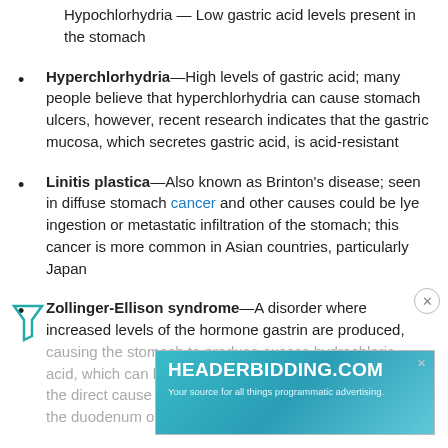Hypochlorhydria — Low gastric acid levels present in the stomach
Hyperchlorhydria—High levels of gastric acid; many people believe that hyperchlorhydria can cause stomach ulcers, however, recent research indicates that the gastric mucosa, which secretes gastric acid, is acid-resistant
Linitis plastica—Also known as Brinton's disease; seen in diffuse stomach cancer and other causes could be lye ingestion or metastatic infiltration of the stomach; this cancer is more common in Asian countries, particularly Japan
Zollinger-Ellison syndrome—A disorder where increased levels of the hormone gastrin are produced, causing the stomach to produce excess hydrochloric acid, which can lead to the development of peptic ulcers; the direct cause of this disease is a tumor (gastrinoma) of the duodenum or pancreas